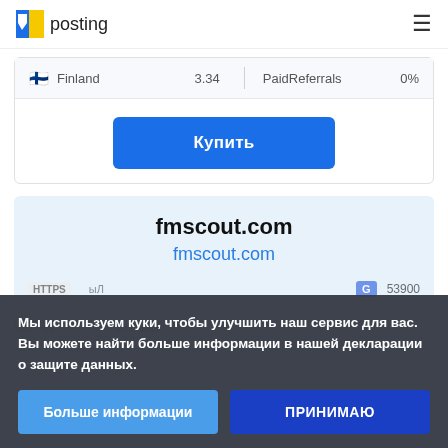pr posting
| Country | Value | Category | Percent |
| --- | --- | --- | --- |
| Finland | 3.34 | PaidReferrals | 0% |
Купить
fmscout.com
fmscout.com
Мы используем куки, чтобы улучшить наш сервис для вас. Вы можете найти больше информации в нашей декларации о защите данных.
Больше информации
ПРИНИМАЮ